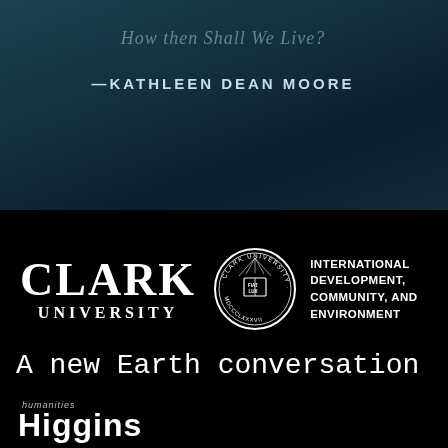How then Shall We Live?
—KATHLEEN DEAN MOORE
[Figure (logo): Clark University seal/logo with wordmark CLARK UNIVERSITY and department text INTERNATIONAL DEVELOPMENT, COMMUNITY, AND ENVIRONMENT]
A new Earth conversation
[Figure (logo): Higgins humanities logo with small 'humanities' text above bold 'Higgins']